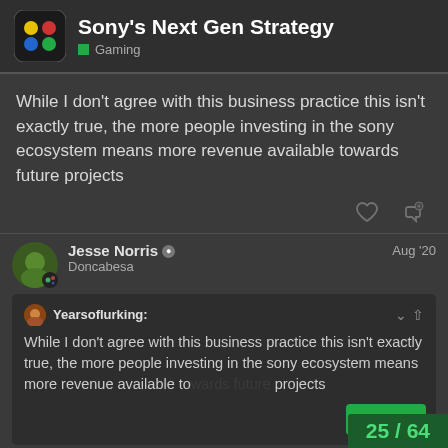Sony's Next Gen Strategy — Gaming
While I don't agree with this business practice this isn't exactly true, the more people investing in the sony ecosystem means more revenue available towards future projects
Jesse Norris — Doncabesa — Aug '20
Yearsoflurking: While I don't agree with this business practice this isn't exactly true, the more people investing in the sony ecosystem means more revenue available towards future projects
It's just petty, they're not making hundreds
25 / 64